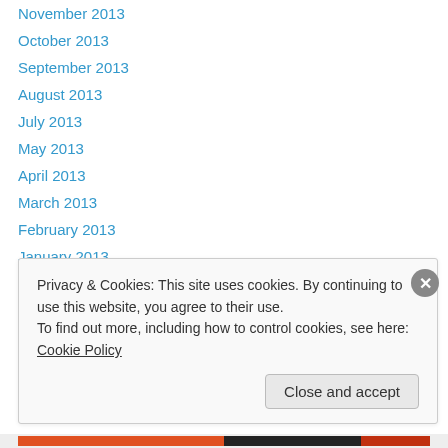November 2013
October 2013
September 2013
August 2013
July 2013
May 2013
April 2013
March 2013
February 2013
January 2013
Categories
Privacy & Cookies: This site uses cookies. By continuing to use this website, you agree to their use. To find out more, including how to control cookies, see here: Cookie Policy